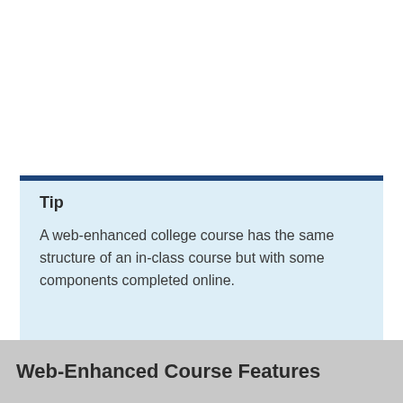Tip
A web-enhanced college course has the same structure of an in-class course but with some components completed online.
Web-Enhanced Course Features